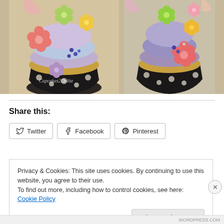[Figure (photo): Two decorated cupcakes with colorful fondant flower decorations in black and white polka dot wrappers. Left cupcake has pink, green, purple, and yellow flower decorations with a watermark reading 'Cupcakes2Delite'. Right cupcake shows similar decorations from a slightly different angle.]
Share this:
Twitter  Facebook  Pinterest
Privacy & Cookies: This site uses cookies. By continuing to use this website, you agree to their use.
To find out more, including how to control cookies, see here: Cookie Policy
Close and accept